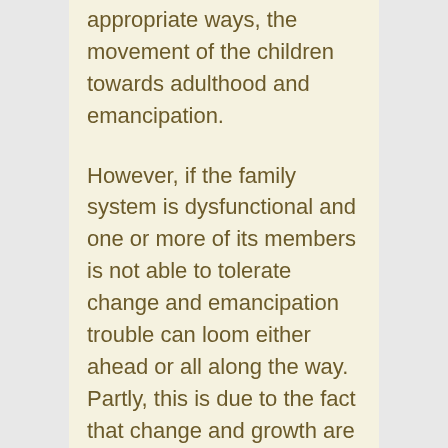appropriate ways, the movement of the children towards adulthood and emancipation.
However, if the family system is dysfunctional and one or more of its members is not able to tolerate change and emancipation trouble can loom either ahead or all along the way. Partly, this is due to the fact that change and growth are viewed as threats that must be stopped. Change, in many